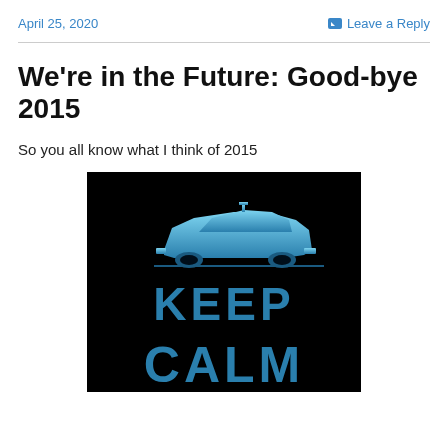April 25, 2020
Leave a Reply
We're in the Future: Good-bye 2015
So you all know what I think of 2015
[Figure (illustration): A 'Keep Calm' style poster with black background. A blue gradient silhouette of a DeLorean-style car (Back to the Future) is shown at the top. Below it, in large blue letters, reads 'KEEP CALM' and partially visible 'CALM' at the bottom.]